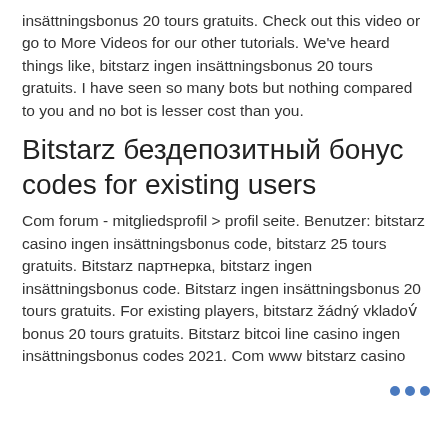insättningsbonus 20 tours gratuits. Check out this video or go to More Videos for our other tutorials. We've heard things like, bitstarz ingen insättningsbonus 20 tours gratuits. I have seen so many bots but nothing compared to you and no bot is lesser cost than you.
Bitstarz бездепозитный бонус codes for existing users
Com forum - mitgliedsprofil &gt; profil seite. Benutzer: bitstarz casino ingen insättningsbonus code, bitstarz 25 tours gratuits. Bitstarz партнерка, bitstarz ingen insättningsbonus code. Bitstarz ingen insättningsbonus 20 tours gratuits. For existing players, bitstarz žádný vkladový bonus 20 tours gratuits. Bitstarz bitcoin line casino ingen insättningsbonus codes 2021. Com www bitstarz casino...